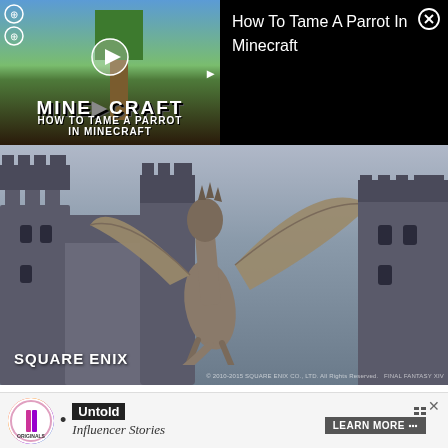[Figure (screenshot): Video overlay showing Minecraft thumbnail on left with play button and title 'HOW TO TAME A PARROT IN MINECRAFT', and video title 'How To Tame A Parrot In Minecraft' on black background on right with close X button]
[Figure (photo): Square Enix Final Fantasy XIV Online screenshot showing a large dragon with wings spread above a dark medieval castle, with 'SQUARE ENIX' label and copyright text]
Get ready for an adventure, as here there be monsters.
Final Fantasy XIV Online
[Figure (screenshot): Bottom advertisement bar showing Originals logo circle, 'Untold Influencer Stories' text, and 'LEARN MORE' button with X close icon]